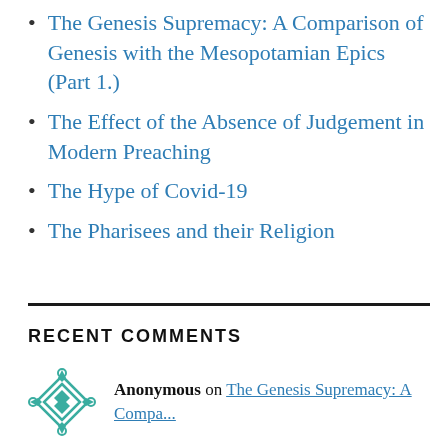The Genesis Supremacy: A Comparison of Genesis with the Mesopotamian Epics (Part 1.)
The Effect of the Absence of Judgement in Modern Preaching
The Hype of Covid-19
The Pharisees and their Religion
RECENT COMMENTS
Anonymous on The Genesis Supremacy: A Compa...
Lila on The Future of the West: Perver...